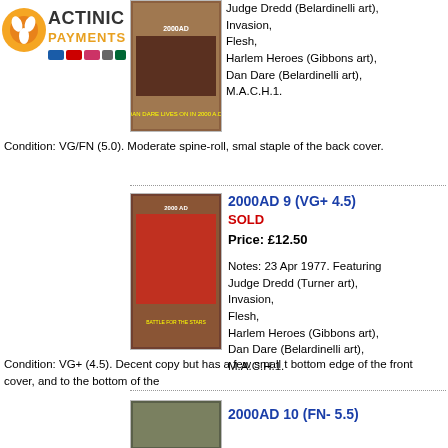[Figure (logo): Actinic Payments logo with payment card icons]
[Figure (photo): 2000AD issue 8 comic book cover]
Judge Dredd (Belardinelli art), Invasion, Flesh, Harlem Heroes (Gibbons art), Dan Dare (Belardinelli art), M.A.C.H.1.
Condition: VG/FN (5.0). Moderate spine-roll, smal staple of the back cover.
2000AD 9 (VG+ 4.5)
SOLD
Price: £12.50
Notes: 23 Apr 1977. Featuring Judge Dredd (Turner art), Invasion, Flesh, Harlem Heroes (Gibbons art), Dan Dare (Belardinelli art), M.A.C.H.1.
[Figure (photo): 2000AD issue 9 comic book cover]
Condition: VG+ (4.5). Decent copy but has a few small t bottom edge of the front cover, and to the bottom of the
2000AD 10 (FN- 5.5)
[Figure (photo): 2000AD issue 10 comic book cover (partial)]